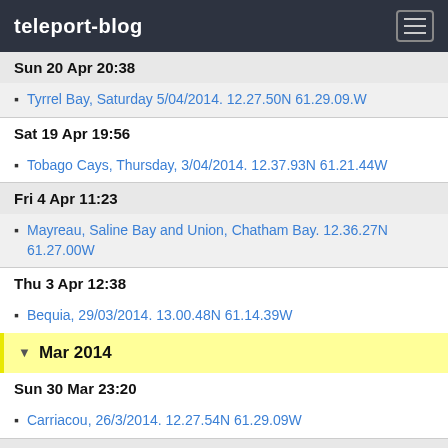teleport-blog
Sun 20 Apr 20:38
Tyrrel Bay, Saturday 5/04/2014. 12.27.50N 61.29.09.W
Sat 19 Apr 19:56
Tobago Cays, Thursday, 3/04/2014. 12.37.93N 61.21.44W
Fri 4 Apr 11:23
Mayreau, Saline Bay and Union, Chatham Bay. 12.36.27N 61.27.00W
Thu 3 Apr 12:38
Bequia, 29/03/2014. 13.00.48N 61.14.39W
Mar 2014
Sun 30 Mar 23:20
Carriacou, 26/3/2014. 12.27.54N 61.29.09W
Tue 25 Mar 02:15
Monday, 24/03/2014, Port Louis, Grenada, 12.02.65N 61.44.83.W
Wed 19 Mar 14:47